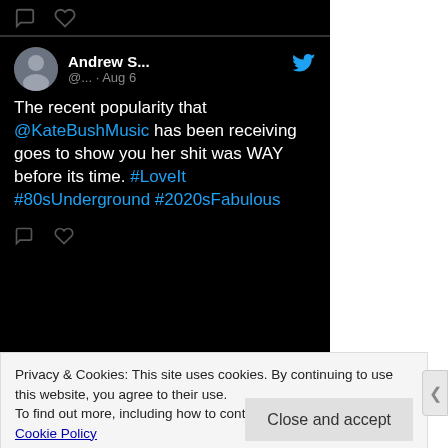[Figure (screenshot): Screenshot of a Twitter/X post. At the top, two icons (speech bubble and heart) on a black background. Below, a tweet card on black background showing user 'Andrew S...' with Twitter bird icon, handle '@... · Aug 6', and tweet text: 'The recent popularity that @KateBushMusic has been receiving goes to show you her shit was WAY before its time. #LoveIt #80sUnderground #2020sFabulous'. Bottom icons (speech bubble and heart) appear below the tweet.]
Privacy & Cookies: This site uses cookies. By continuing to use this website, you agree to their use.
To find out more, including how to control cookies, see here: Cookie Policy
Close and accept